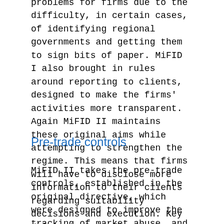problems for firms due to the difficulty, in certain cases, of identifying regional governments and getting them to sign bits of paper. MiFID I also brought in rules around reporting to clients, designed to make the firms' activities more transparent. Again MiFID II maintains these original aims while attempting to strengthen the regime. This means that firms will have to disclose more information to their clients regarding suitability decisions and execution. Key deltas include firms' new requirements for monetary and non-monetary payments for services, and the disclosure of the costs and risks of instrument bundling is now mandatory.
Pre-trade controls
MiFID II takes the pre-trade controls, established in the original directive, which were designed to improve the tracking of market abuse, and expands them, both in terms of breadth and depth. MiFID II insists on